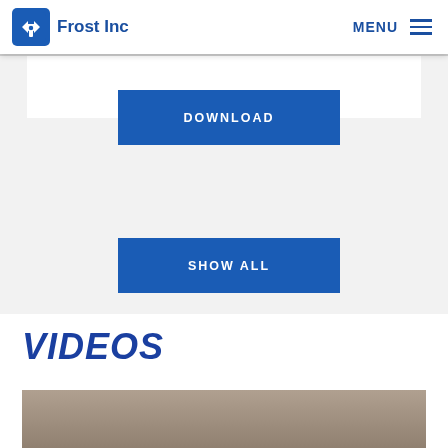Frost Inc
DOWNLOAD
SHOW ALL
VIDEOS
[Figure (photo): Bottom photo strip showing partial image content]